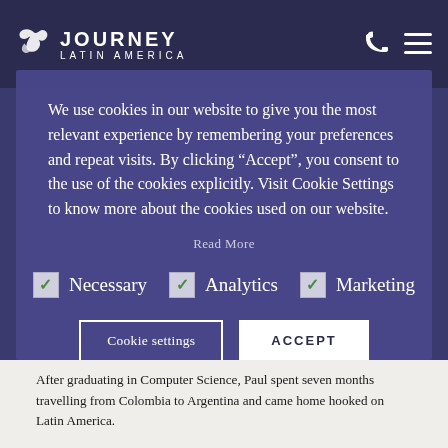JOURNEY LATIN AMERICA
We use cookies in our website to give you the most relevant experience by remembering your preferences and repeat visits. By clicking “Accept”, you consent to the use of the cookies explicitly. Visit Cookie Settings to know more about the cookies used on our website.
Read More
☑ Necessary  ☑ Analytics  ☑ Marketing
Cookie settings   ACCEPT
After graduating in Computer Science, Paul spent seven months travelling from Colombia to Argentina and came home hooked on Latin America.